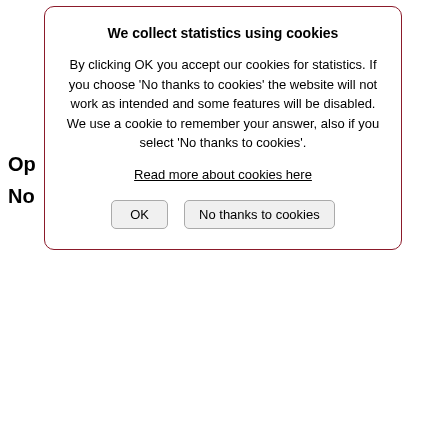Op
No
We collect statistics using cookies
By clicking OK you accept our cookies for statistics. If you choose 'No thanks to cookies' the website will not work as intended and some features will be disabled. We use a cookie to remember your answer, also if you select 'No thanks to cookies'.
Read more about cookies here
OK   No thanks to cookies